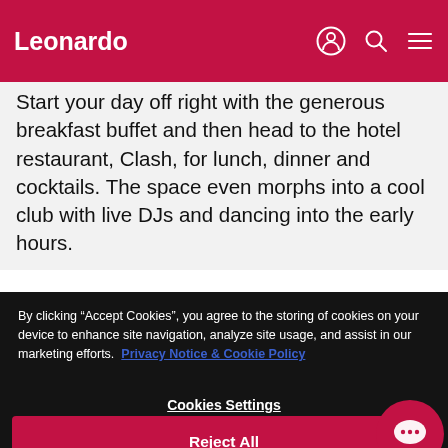Leonardo
Start your day off right with the generous breakfast buffet and then head to the hotel restaurant, Clash, for lunch, dinner and cocktails. The space even morphs into a cool club with live DJs and dancing into the early hours.
By clicking “Accept Cookies”, you agree to the storing of cookies on your device to enhance site navigation, analyze site usage, and assist in our marketing efforts. Privacy Notice & Cookie Policy
Cookies Settings
Reject All
Accept All Cookies